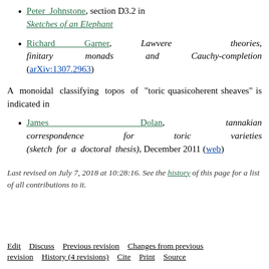Peter Johnstone, section D3.2 in Sketches of an Elephant
Richard Garner, Lawvere theories, finitary monads and Cauchy-completion (arXiv:1307.2963)
A monoidal classifying topos of “toric quasicoherent sheaves” is indicated in
James Dolan, tannakian correspondence for toric varieties (sketch for a doctoral thesis), December 2011 (web)
Last revised on July 7, 2018 at 10:28:16. See the history of this page for a list of all contributions to it.
Edit   Discuss   Previous revision   Changes from previous revision   History (4 revisions)   Cite   Print   Source